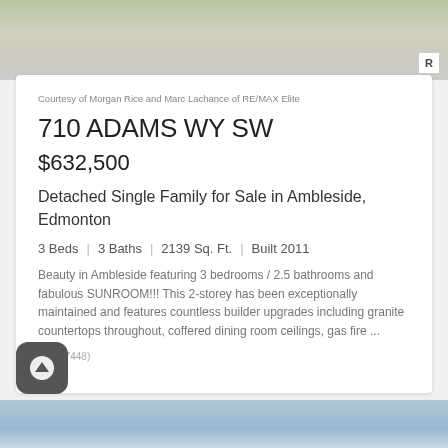[Figure (photo): Top portion of a real estate exterior photo showing landscaping and driveway]
Courtesy of Morgan Rice and Marc Lachance of RE/MAX Elite
710 ADAMS WY SW
$632,500
Detached Single Family for Sale in Ambleside, Edmonton
3 Beds | 3 Baths | 2139 Sq. Ft. | Built 2011
Beauty in Ambleside featuring 3 bedrooms / 2.5 bathrooms and fabulous SUNROOM!!! This 2-storey has been exceptionally maintained and features countless builder upgrades including granite countertops throughout, coffered dining room ceilings, gas fire ...
(E4297448)
[Figure (photo): Bottom portion showing sky and clouds]